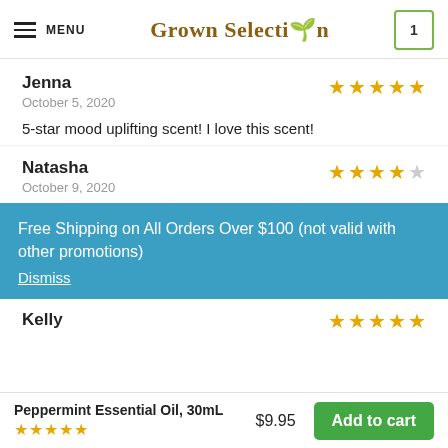MENU | Grown Selection | 1
Jenna
October 5, 2020
5-star mood uplifting scent! I love this scent!
Natasha
October 9, 2020
Free Shipping on All Orders Over $100 (not valid with other promotions)
Dismiss
Kelly
Peppermint Essential Oil, 30mL  $9.95  Add to cart